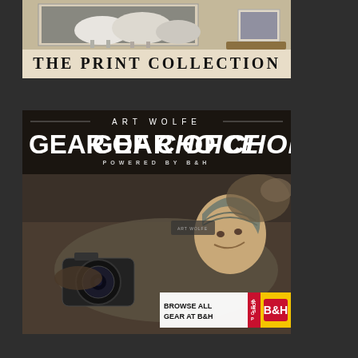[Figure (illustration): Top advertisement banner for 'The Print Collection' showing a framed sheep/animal photograph displayed on a wall, with text 'THE PRINT COLLECTION' in bold serif font on a cream/tan background]
[Figure (photo): Advertisement for Art Wolfe Gear of Choice powered by B&H. Dark background with white text 'ART WOLFE' at top with decorative lines, large bold white text 'GEAR OF CHOICE', 'POWERED BY B&H' in spaced letters. Lower portion shows sepia/black-and-white photo of smiling photographer lying prone with camera. Bottom right has CTA button 'BROWSE ALL GEAR AT B&H' with 'SHOP' bar and B&H yellow/red logo.]